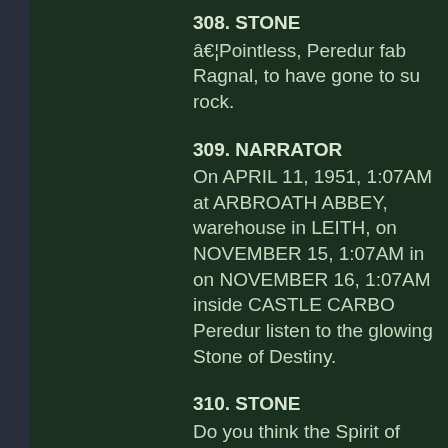308. STONE
…Pointless, Peredur fab Ragnal, to have gone to su rock.
309. NARRATOR
On APRIL 11, 1951, 1:07AM at ARBROATH ABBEY, warehouse in LEITH, on NOVEMBER 15, 1:07AM in on NOVEMBER 16, 1:07AM inside CASTLE CARBO Peredur listen to the glowing Stone of Destiny.
310. STONE
Do you think the Spirit of Destiny can be contained i The Lia Fáil. The Stone of Bethel and Jerusalem, of The Stone at Tara and of Mora, at Iona and of Scone am the Blarney Stone, the Coronation Stone, the He the Stone of the Sword, the Stone of the Waters, Cla Stone, the Philosopher's Stone, the Standing Sto Foundation Stone, the Megalith Dance, the Burden o Gibraltar, the Pillar of Hercules, Uluru, Clach Sgà inâ Stone, the Rune Stone, Sire of the Wyrd… I AM THI STONE OF DESTINY… I AM THE ROCK OF AGES